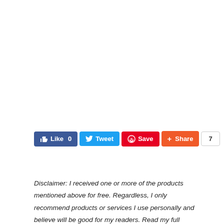[Figure (screenshot): Social sharing buttons row: Like 0 (blue), Tweet (blue), Save (red/Pinterest), Share (orange), and a count badge showing 7]
Disclaimer: I received one or more of the products mentioned above for free. Regardless, I only recommend products or services I use personally and believe will be good for my readers. Read my full disclosure.